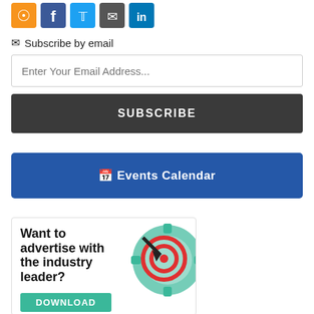[Figure (illustration): Social media icons: RSS (orange), Facebook (blue), Twitter (light blue), Email (grey), LinkedIn (blue)]
Subscribe by email
Enter Your Email Address...
SUBSCRIBE
Events Calendar
[Figure (infographic): Advertisement banner with teal gear and red target icon graphic, text: Want to advertise with the industry leader? DOWNLOAD]